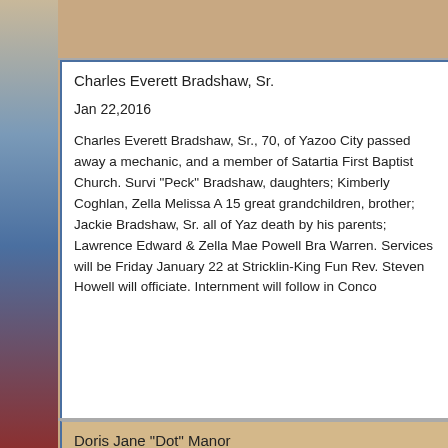Charles Everett Bradshaw, Sr.
Jan 22,2016
Charles Everett Bradshaw, Sr., 70, of Yazoo City passed away a mechanic, and a member of Satartia First Baptist Church. Survi "Peck" Bradshaw, daughters; Kimberly Coghlan, Zella Melissa A 15 great grandchildren, brother; Jackie Bradshaw, Sr. all of Yaz death by his parents; Lawrence Edward & Zella Mae Powell Bra Warren. Services will be Friday January 22 at Stricklin-King Fun Rev. Steven Howell will officiate. Internment will follow in Conco
Doris Jane "Dot" Manor
Jan 20,2016
Doris Jane "Dot" Manor, 69, of Bentonia passed away Saturday She was retired from Regions Bank as a teller and was a memb